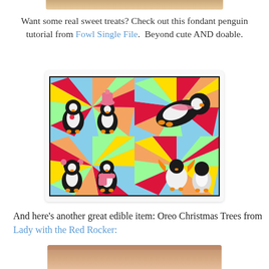[Figure (photo): Top portion of an image, partially cropped at top of page]
Want some real sweet treats? Check out this fondant penguin tutorial from Fowl Single File.  Beyond cute AND doable.
[Figure (photo): Four-panel grid of fondant/clay penguin figurines on a colorful sunburst background. Top-left: two penguins, one with heart, one with pink hat. Top-right: penguin laid on its back with pink scarf. Bottom-left: two penguins, one with pink ear muffs. Bottom-right: two penguins, one with orange wings raised.]
And here's another great edible item: Oreo Christmas Trees from Lady with the Red Rocker:
[Figure (photo): Bottom portion of another image, partially cropped, showing warm pinkish-brown tones]